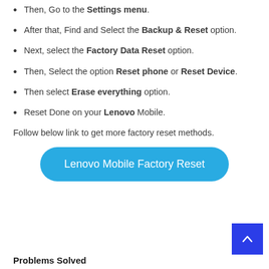Then, Go to the Settings menu.
After that, Find and Select the Backup & Reset option.
Next, select the Factory Data Reset option.
Then, Select the option Reset phone or Reset Device.
Then select Erase everything option.
Reset Done on your Lenovo Mobile.
Follow below link to get more factory reset methods.
[Figure (other): Blue rounded button labeled 'Lenovo Mobile Factory Reset']
Problems Solved